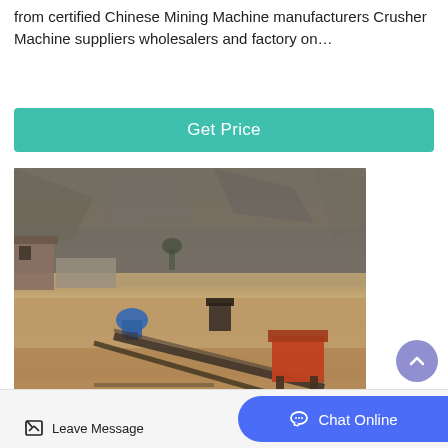from certified Chinese Mining Machine manufacturers Crusher Machine suppliers wholesalers and factory on…
Get Price
[Figure (photo): Outdoor quarry/mining site with heavy machinery, conveyor belts, blue and orange crushers, rocky cliff face in background]
Leave Message
Chat Online